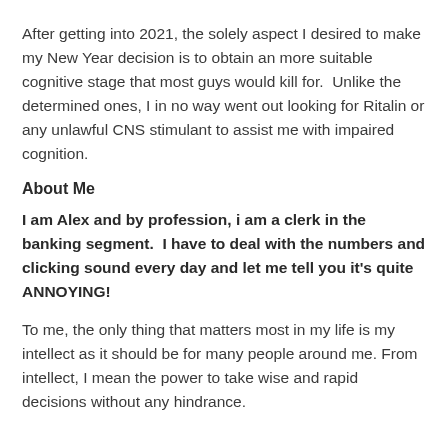After getting into 2021, the solely aspect I desired to make my New Year decision is to obtain an more suitable cognitive stage that most guys would kill for.  Unlike the determined ones, I in no way went out looking for Ritalin or any unlawful CNS stimulant to assist me with impaired cognition.
About Me
I am Alex and by profession, i am a clerk in the banking segment.  I have to deal with the numbers and clicking sound every day and let me tell you it's quite ANNOYING!
To me, the only thing that matters most in my life is my intellect as it should be for many people around me. From intellect, I mean the power to take wise and rapid decisions without any hindrance.